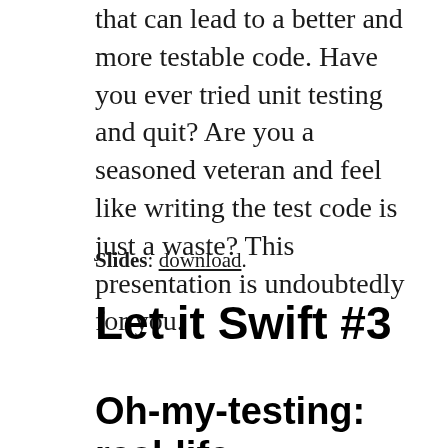that can lead to a better and more testable code. Have you ever tried unit testing and quit? Are you a seasoned veteran and feel like writing the test code is just a waste? This presentation is undoubtedly for you.
Slides: download.
Let it Swift #3
Oh-my-testing: real-life